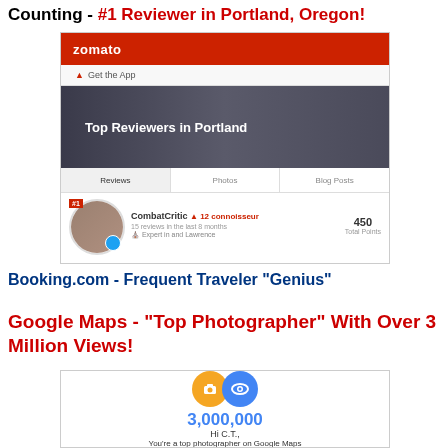Counting - #1 Reviewer in Portland, Oregon!
[Figure (screenshot): Zomato website screenshot showing 'Top Reviewers in Portland' page with CombatCritic listed as #1 reviewer with 450 Total Points]
Booking.com - Frequent Traveler "Genius"
Google Maps - "Top Photographer" With Over 3 Million Views!
[Figure (screenshot): Google Maps screenshot showing 3,000,000 views milestone with orange camera icon and blue eye icon, text reading 'Hi C.T., You're a top photographer on Google Maps']